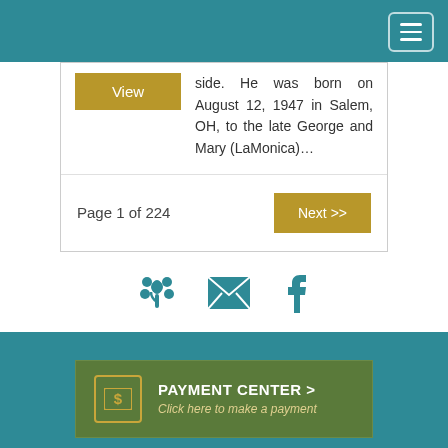Navigation header with hamburger menu
side. He was born on August 12, 1947 in Salem, OH, to the late George and Mary (LaMonica)...
Page 1 of 224
Next >>
[Figure (infographic): Three social/contact icons: flower/tribute icon, email envelope icon, Facebook icon, all in teal color]
[Figure (infographic): Payment Center banner with dollar sign icon, text PAYMENT CENTER > and Click here to make a payment]
Our Locations